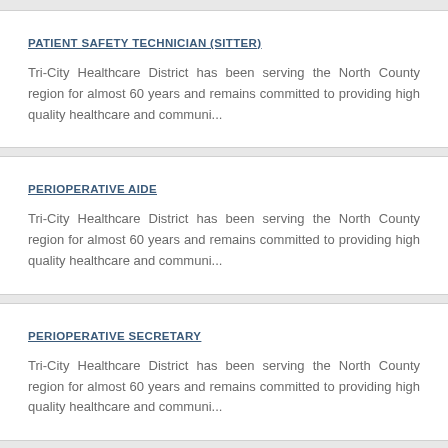PATIENT SAFETY TECHNICIAN (SITTER)
Tri-City Healthcare District has been serving the North County region for almost 60 years and remains committed to providing high quality healthcare and communi...
PERIOPERATIVE AIDE
Tri-City Healthcare District has been serving the North County region for almost 60 years and remains committed to providing high quality healthcare and communi...
PERIOPERATIVE SECRETARY
Tri-City Healthcare District has been serving the North County region for almost 60 years and remains committed to providing high quality healthcare and communi...